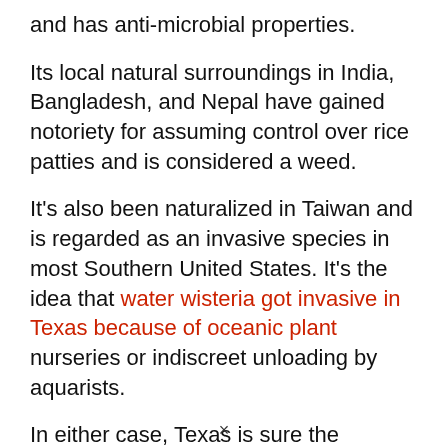and has anti-microbial properties.
Its local natural surroundings in India, Bangladesh, and Nepal have gained notoriety for assuming control over rice patties and is considered a weed.
It's also been naturalized in Taiwan and is regarded as an invasive species in most Southern United States. It's the idea that water wisteria got invasive in Texas because of oceanic plant nurseries or indiscreet unloading by aquarists.
In either case, Texas is sure the aquarium interest is at fault for the attack – so make sure to discard any aquarium plants, fish, and items appropriately!
×